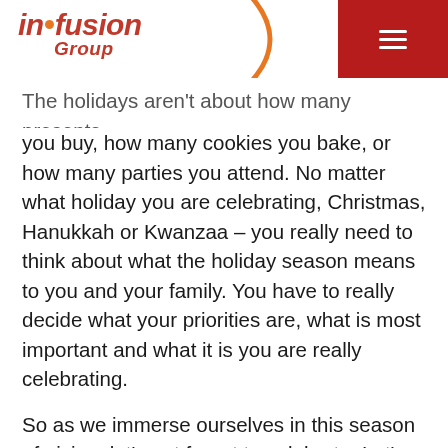in•fusion Group
The holidays aren't about how many presents you buy, how many cookies you bake, or how many parties you attend. No matter what holiday you are celebrating, Christmas, Hanukkah or Kwanzaa – you really need to think about what the holiday season means to you and your family. You have to really decide what your priorities are, what is most important and what it is you are really celebrating.
So as we immerse ourselves in this season of giving, let's not forget to celebrate. Let's sing, let's decorate, let's visit our friends and family, let's spend time together and most importantly